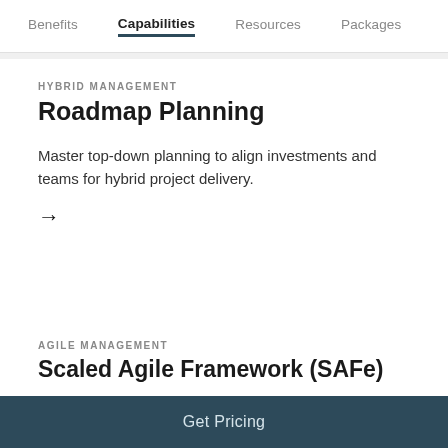Benefits  Capabilities  Resources  Packages
HYBRID MANAGEMENT
Roadmap Planning
Master top-down planning to align investments and teams for hybrid project delivery.
→
AGILE MANAGEMENT
Scaled Agile Framework (SAFe)
Get Pricing